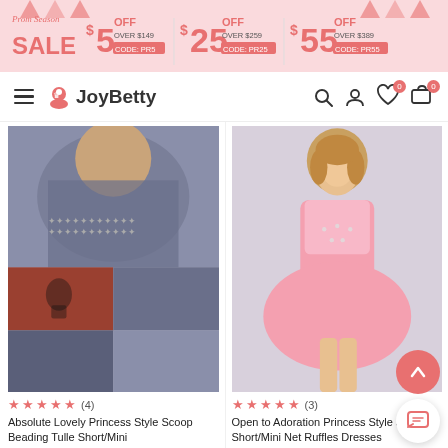[Figure (screenshot): Prom Season SALE banner with discount codes: $5 OFF OVER $149 CODE: PR5, $25 OFF OVER $259 CODE: PR25, $55 OFF OVER $389 CODE: PR55]
JoyBetty navigation bar with hamburger menu, logo, search, user, wishlist (0), cart (0) icons
[Figure (photo): Grey sequin short/mini dress shown from multiple angles on brick wall background]
[Figure (photo): Pink lace and tulle short princess dress on model with light grey background]
★★★★★ (4)
★★★★★ (3)
Absolute Lovely Princess Style Scoop Beading Tulle Short/Mini
Open to Adoration Princess Style Jewel Short/Mini Net Ruffles Dresses